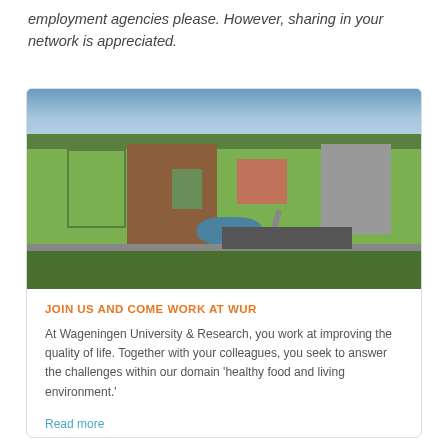employment agencies please. However, sharing in your network is appreciated.
[Figure (photo): Aerial view of Wageningen University & Research campus, showing brick buildings, green lawns, a small pond, roads, and surrounding trees under a partly cloudy sky.]
JOIN US AND COME WORK AT WUR
At Wageningen University & Research, you work at improving the quality of life. Together with your colleagues, you seek to answer the challenges within our domain 'healthy food and living environment.'
Read more